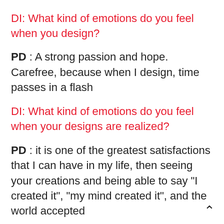DI: What kind of emotions do you feel when you design?
PD : A strong passion and hope. Carefree, because when I design, time passes in a flash
DI: What kind of emotions do you feel when your designs are realized?
PD : it is one of the greatest satisfactions that I can have in my life, then seeing your creations and being able to say "I created it", "my mind created it", and the world accepted